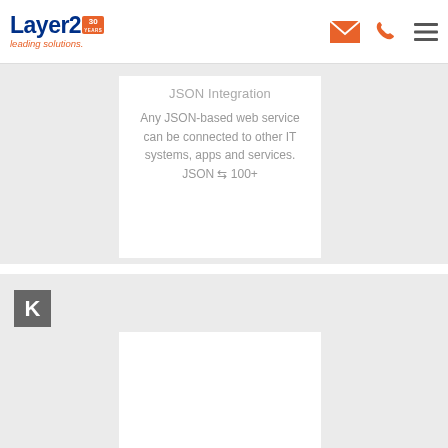[Figure (logo): Layer2 leading solutions logo with 30 years badge]
[Figure (infographic): Orange envelope icon, orange phone icon, and hamburger menu icon in header]
JSON Integration
Any JSON-based web service can be connected to other IT systems, apps and services. JSON ⇆ 100+
[Figure (logo): Letter K in grey square badge]
[Figure (logo): Knack logo - purple text 'knack' with grey asterisk]